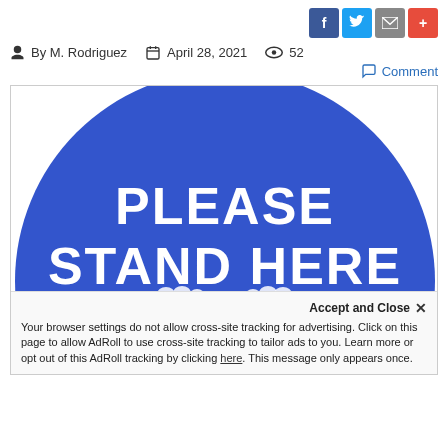[Figure (other): Social sharing icons: Facebook (blue), Twitter (light blue), Email (gray), Plus/More (red)]
By M. Rodriguez    April 28, 2021    52
Comment
[Figure (photo): Blue circular floor sign reading 'PLEASE STAND HERE' with two white footprint shapes at the bottom, used for social distancing guidance.]
Accept and Close ✕
Your browser settings do not allow cross-site tracking for advertising. Click on this page to allow AdRoll to use cross-site tracking to tailor ads to you. Learn more or opt out of this AdRoll tracking by clicking here. This message only appears once.